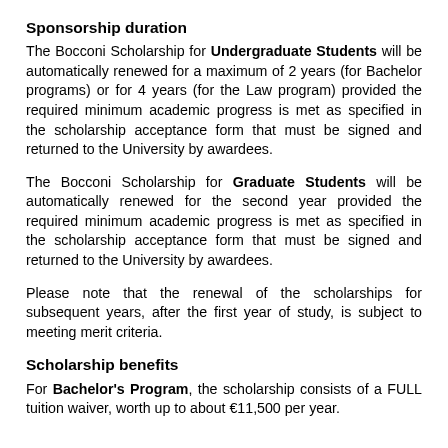Sponsorship duration
The Bocconi Scholarship for Undergraduate Students will be automatically renewed for a maximum of 2 years (for Bachelor programs) or for 4 years (for the Law program) provided the required minimum academic progress is met as specified in the scholarship acceptance form that must be signed and returned to the University by awardees.
The Bocconi Scholarship for Graduate Students will be automatically renewed for the second year provided the required minimum academic progress is met as specified in the scholarship acceptance form that must be signed and returned to the University by awardees.
Please note that the renewal of the scholarships for subsequent years, after the first year of study, is subject to meeting merit criteria.
Scholarship benefits
For Bachelor's Program, the scholarship consists of a FULL tuition waiver, worth up to about €11,500 per year.